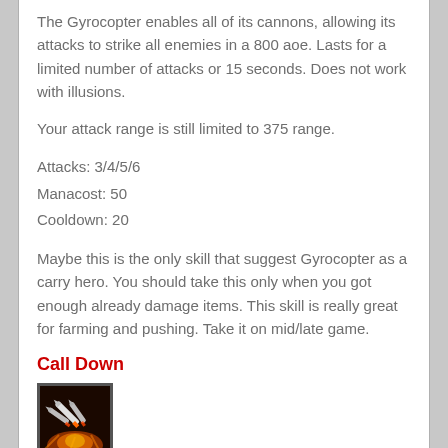The Gyrocopter enables all of its cannons, allowing its attacks to strike all enemies in a 800 aoe. Lasts for a limited number of attacks or 15 seconds. Does not work with illusions.
Your attack range is still limited to 375 range.
Attacks: 3/4/5/6
Manacost: 50
Cooldown: 20
Maybe this is the only skill that suggest Gyrocopter as a carry hero. You should take this only when you got enough already damage items. This skill is really great for farming and pushing. Take it on mid/late game.
Call Down
[Figure (illustration): Game skill icon for Call Down — shows missiles/rockets on a dark background with fire and motion effects.]